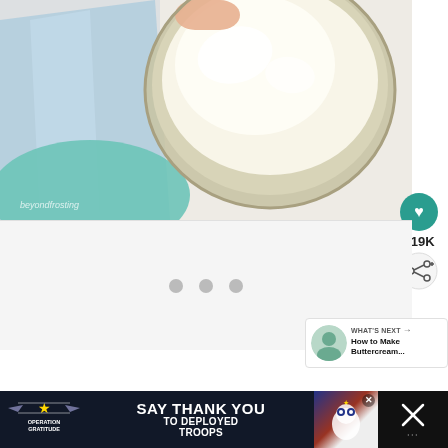[Figure (photo): A mixing bowl with creamy white buttercream frosting, a finger at top, teal and blue items in background on marble surface. Watermark: beyondfrosting]
[Figure (infographic): Heart/save button (teal circle with white heart icon)]
119K
[Figure (infographic): Share button (circle with share icon)]
[Figure (infographic): Loading dots (three grey circles)]
[Figure (infographic): WHAT'S NEXT arrow panel with thumbnail: How to Make Buttercream...]
[Figure (infographic): Advertisement banner: Operation Gratitude - SAY THANK YOU TO DEPLOYED TROOPS, with patriotic imagery and close button]